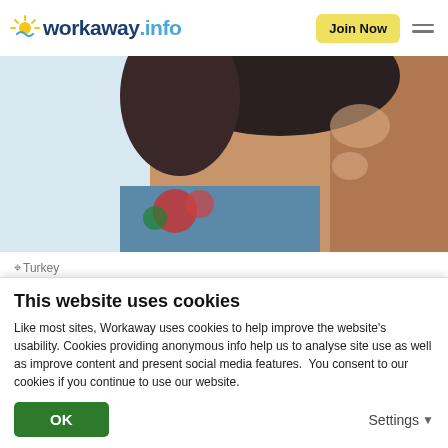workaway.info — Join Now
[Figure (photo): Close-up photo of a person's face, partial view, with a floral shirt visible, outdoors with light background]
Turkey
Help develop our Eco Lodge in Anamur-Mersin, Turkey
★★★★★ (10)
This website uses cookies
Like most sites, Workaway uses cookies to help improve the website's usability. Cookies providing anonymous info help us to analyse site use as well as improve content and present social media features.  You consent to our cookies if you continue to use our website.
OK
Settings